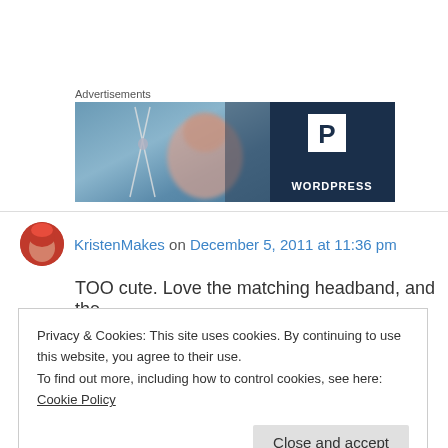Advertisements
[Figure (screenshot): WordPress advertisement banner. Left side shows a blurred photo of a smiling person. Right side is dark navy with a white P logo box and 'WORDPRESS' text in white.]
KristenMakes on December 5, 2011 at 11:36 pm
TOO cute. Love the matching headband, and the
Privacy & Cookies: This site uses cookies. By continuing to use this website, you agree to their use.
To find out more, including how to control cookies, see here: Cookie Policy